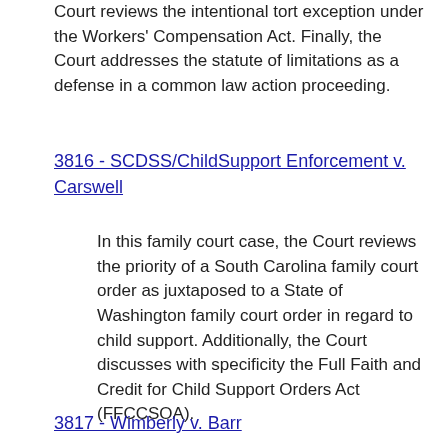Court reviews the intentional tort exception under the Workers' Compensation Act. Finally, the Court addresses the statute of limitations as a defense in a common law action proceeding.
3816 - SCDSS/ChildSupport Enforcement v. Carswell
In this family court case, the Court reviews the priority of a South Carolina family court order as juxtaposed to a State of Washington family court order in regard to child support. Additionally, the Court discusses with specificity the Full Faith and Credit for Child Support Orders Act (FFCCSOA).
3817 - Wimberly v. Barr